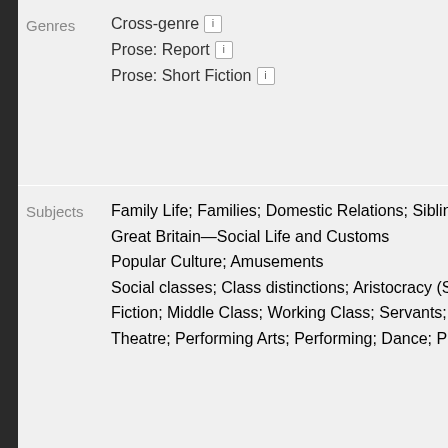| Field | Value |
| --- | --- |
| Genres | Cross-genre; Prose: Report; Prose: Short Fiction |
| Subjects | Family Life; Families; Domestic Relations; Sibling Re... Great Britain—Social Life and Customs; Popular Culture; Amusements; Social classes; Class distinctions; Aristocracy (Socia... Fiction; Middle Class; Working Class; Servants; Theatre; Performing Arts; Performing; Dance; Playw... |
Details
| Index | Other D... |
| --- | --- |
|  | Printed s... |
|  | Journal s... |
|  | Volume ... |
|  | Magazin... |
|  | Office Be... |